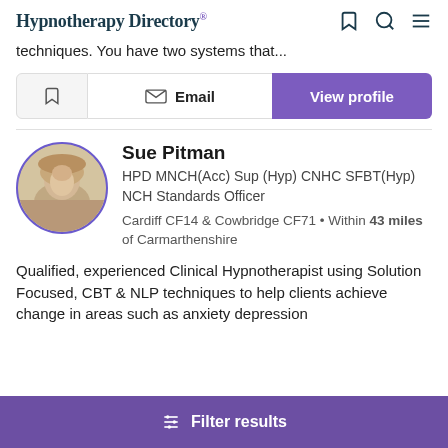Hypnotherapy Directory
techniques. You have two systems that...
Email | View profile
Sue Pitman
HPD MNCH(Acc) Sup (Hyp) CNHC SFBT(Hyp) NCH Standards Officer
Cardiff CF14 & Cowbridge CF71 • Within 43 miles of Carmarthenshire
Qualified, experienced Clinical Hypnotherapist using Solution Focused, CBT & NLP techniques to help clients achieve change in areas such as anxiety depression
Filter results